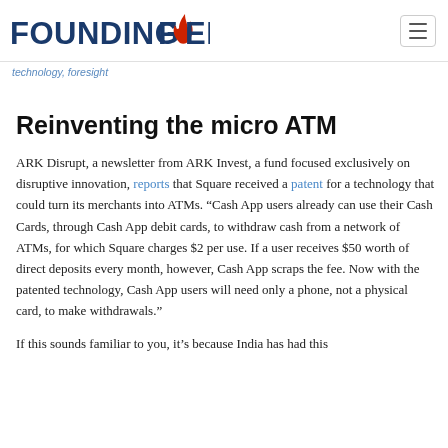FOUNDING FUEL
technology, foresight
Reinventing the micro ATM
ARK Disrupt, a newsletter from ARK Invest, a fund focused exclusively on disruptive innovation, reports that Square received a patent for a technology that could turn its merchants into ATMs. “Cash App users already can use their Cash Cards, through Cash App debit cards, to withdraw cash from a network of ATMs, for which Square charges $2 per use. If a user receives $50 worth of direct deposits every month, however, Cash App scraps the fee. Now with the patented technology, Cash App users will need only a phone, not a physical card, to make withdrawals.”
If this sounds familiar to you, it’s because India has had this